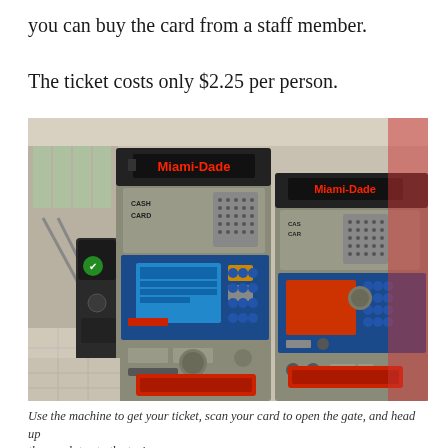you can buy the card from a staff member.
The ticket costs only $2.25 per person.
[Figure (photo): Miami-Dade transit ticket vending machines with touchscreens and a card reader/turnstile on the left side, inside a transit station.]
Use the machine to get your ticket, scan your card to open the gate, and head up the escalator to the train.